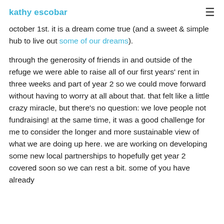kathy escobar
october 1st.  it is a dream come true (and a sweet & simple hub to live out some of our dreams).
through the generosity of friends in and outside of the refuge we were able to raise all of our first years' rent in three weeks and part of year 2 so we could move forward without having to worry at all about that. that felt like a little crazy miracle, but there's no question:  we love people not fundraising!  at the same time, it was a good challenge for me to consider the longer and more sustainable view of what we are doing up here. we are working on developing some new local partnerships to hopefully get year 2 covered soon so we can rest a bit.  some of you have already